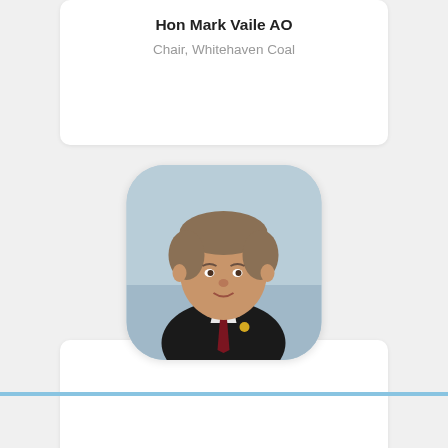Hon Mark Vaile AO
Chair, Whitehaven Coal
[Figure (photo): Portrait photo of Dr Ian Watt AC, a middle-aged man with light brown hair, wearing a dark suit and dark red tie, set in a rounded square frame with a light blue/sky background.]
Dr Ian Watt AC
Board Member, Grattan Institute